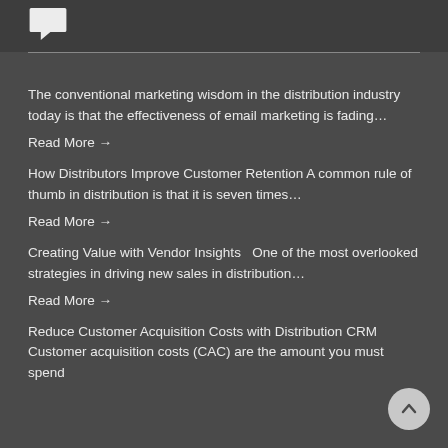[Figure (logo): Speech bubble icon in white on dark grey background]
The conventional marketing wisdom in the distribution industry today is that the effectiveness of email marketing is fading…
Read More →
How Distributors Improve Customer Retention A common rule of thumb in distribution is that it is seven times…
Read More →
Creating Value with Vendor Insights   One of the most overlooked strategies in driving new sales in distribution…
Read More →
Reduce Customer Acquisition Costs with Distribution CRM Customer acquisition costs (CAC) are the amount you must spend